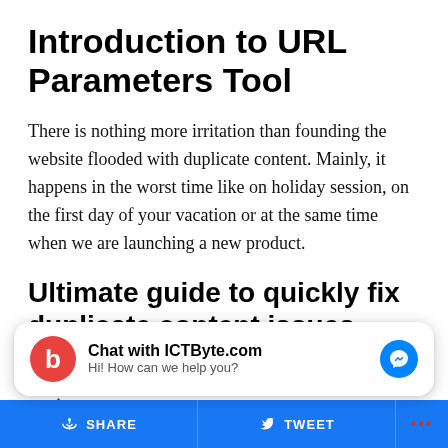Introduction to URL Parameters Tool
There is nothing more irritation than founding the website flooded with duplicate content. Mainly, it happens in the worst time like on holiday session, on the first day of your vacation or at the same time when we are launching a new product.
Ultimate guide to quickly fix duplicate content issues
The URL Parameters tool.
[Figure (other): Chat widget from ICTByte.com with logo, chat prompt 'Hi! How can we help you?' and Facebook Messenger button]
SHARE  TWEET  ...